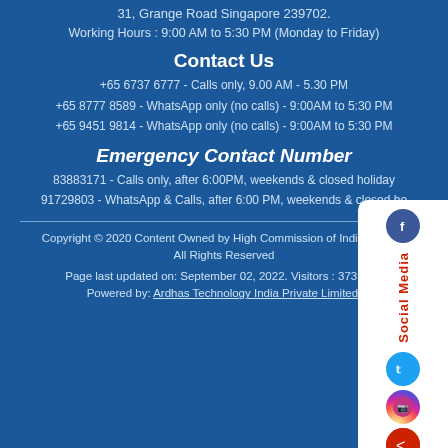31, Grange Road Singapore 239702.
Working Hours : 9:00 AM to 5:30 PM (Monday to Friday)
Contact Us
+65 6737 6777 - Calls only, 9.00 AM - 5.30 PM
+65 8777 8589 - WhatsApp only (no calls) - 9:00AM to 5:30 PM
+65 9451 9814 - WhatsApp only (no calls) - 9:00AM to 5:30 PM
Emergency Contact Number
83883171 - Calls only, after 6:00PM, weekends & closed holiday
91729803 - WhatsApp & Calls, after 6:00 PM, weekends & closed ho
Copyright © 2020 Content Owned by High Commission of India, Singapore
All Rights Reserved
Page last updated on: September 02, 2022. Visitors : 3739112
Powered by: Ardhas Technology India Private Limited.